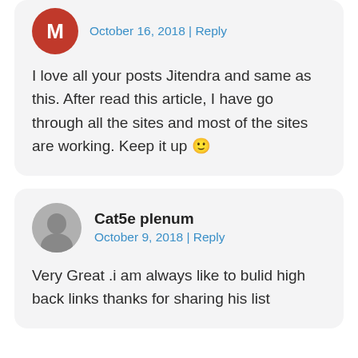October 16, 2018 | Reply
I love all your posts Jitendra and same as this. After read this article, I have go through all the sites and most of the sites are working. Keep it up 🙂
Cat5e plenum
October 9, 2018 | Reply
Very Great .i am always like to bulid high back links thanks for sharing his list